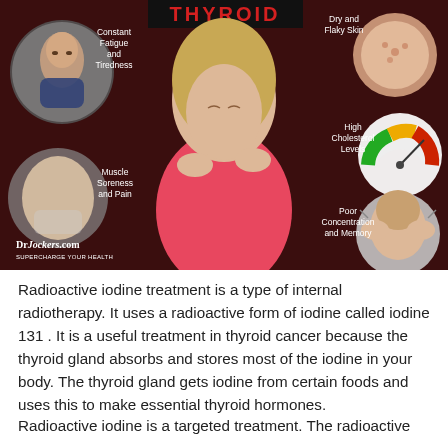[Figure (infographic): Thyroid symptoms infographic on dark red background showing a woman touching her neck/throat, surrounded by circular photos illustrating symptoms: Constant Fatigue and Tiredness, Muscle Soreness and Pain, Dry and Flaky Skin, High Cholesterol Levels, Poor Concentration and Memory. Branded DrJockers.com.]
Radioactive iodine treatment is a type of internal radiotherapy. It uses a radioactive form of iodine called iodine 131 . It is a useful treatment in thyroid cancer because the thyroid gland absorbs and stores most of the iodine in your body. The thyroid gland gets iodine from certain foods and uses this to make essential thyroid hormones.
Radioactive iodine is a targeted treatment. The radioactive